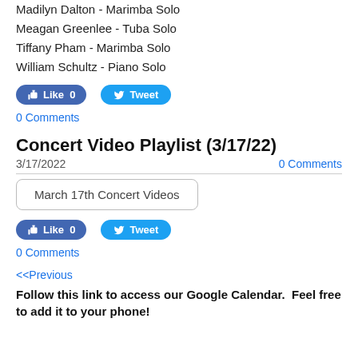Madilyn Dalton - Marimba Solo
Meagan Greenlee - Tuba Solo
Tiffany Pham - Marimba Solo
William Schultz - Piano Solo
[Figure (other): Facebook Like button (0 likes) and Twitter Tweet button]
0 Comments
Concert Video Playlist (3/17/22)
3/17/2022
0 Comments
[Figure (other): Rounded rectangle button labeled 'March 17th Concert Videos']
[Figure (other): Facebook Like button (0 likes) and Twitter Tweet button]
0 Comments
<<Previous
Follow this link to access our Google Calendar.  Feel free to add it to your phone!